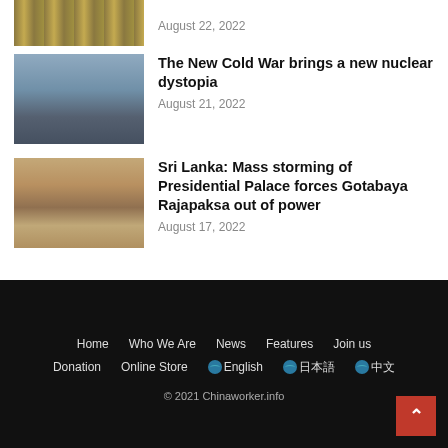[Figure (photo): Partial image of dollar bills (cropped at top)]
August 22, 2022
[Figure (photo): Soldier in military uniform standing in front of industrial/power plant building]
The New Cold War brings a new nuclear dystopia
August 21, 2022
[Figure (photo): Large crowd of protesters in front of a government building with columns, Sri Lanka]
Sri Lanka: Mass storming of Presidential Palace forces Gotabaya Rajapaksa out of power
August 17, 2022
Home  Who We Are  News  Features  Join us  Donation  Online Store  🌐English  🌐日本語  🌐中文  © 2021 Chinaworker.info